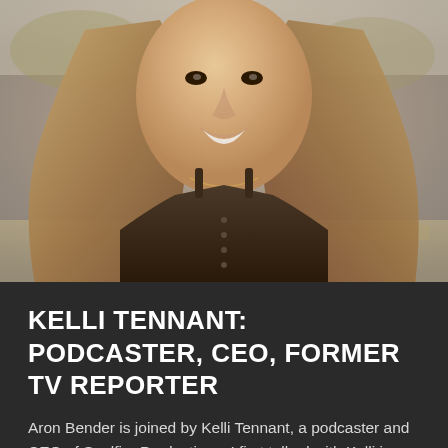[Figure (photo): Portrait photo of Kelli Tennant, a woman with long brown hair, smiling, wearing a dark olive/brown tank top with buttons, with an outdoor background of desert landscape and wooden structures.]
KELLI TENNANT: PODCASTER, CEO, FORMER TV REPORTER
Aron Bender is joined by Kelli Tennant, a podcaster and CEO of Soulfire Productions. I first talked with Kelli in 2019, shortly after she walked away from reporting on the